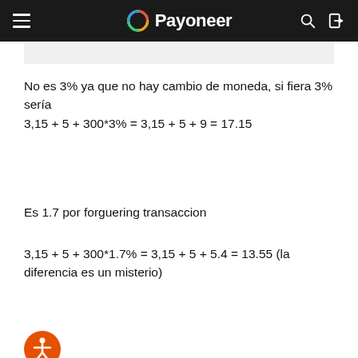Payoneer
No es 3% ya que no hay cambio de moneda, si fiera 3% sería
3,15 + 5 + 300*3% = 3,15 + 5 + 9 = 17.15
Es 1.7 por forguering transaccion
3,15 + 5 + 300*1.7% = 3,15 + 5 + 5.4 = 13.55 (la diferencia es un misterio)
Cuando daban por caja era: